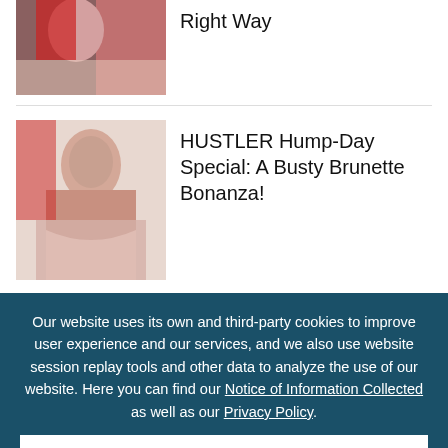[Figure (photo): Thumbnail image for article about 'Right Way' - partially visible cropped photo]
Right Way
[Figure (photo): Thumbnail image of a busty brunette woman for Hustler Hump-Day Special article]
HUSTLER Hump-Day Special: A Busty Brunette Bonanza!
[Figure (other): Black promo box with text: Find this article and more in HUSTLER September]
Our website uses its own and third-party cookies to improve user experience and our services, and we also use website session replay tools and other data to analyze the use of our website. Here you can find our Notice of Information Collected as well as our Privacy Policy.
I UNDERSTAND